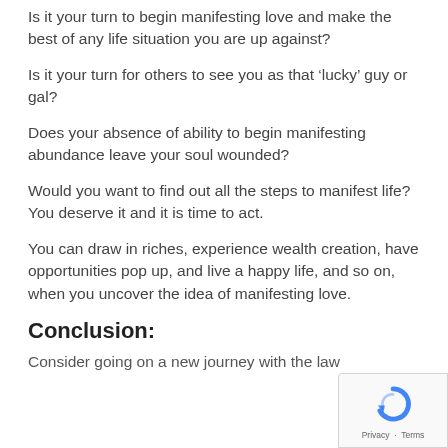Is it your turn to begin manifesting love and make the best of any life situation you are up against?
Is it your turn for others to see you as that ‘lucky’ guy or gal?
Does your absence of ability to begin manifesting abundance leave your soul wounded?
Would you want to find out all the steps to manifest life? You deserve it and it is time to act.
You can draw in riches, experience wealth creation, have opportunities pop up, and live a happy life, and so on, when you uncover the idea of manifesting love.
Conclusion:
Consider going on a new journey with the law